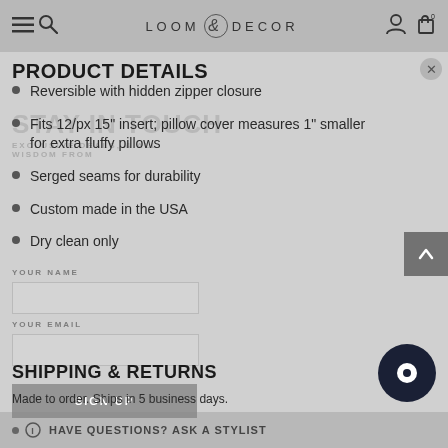LOOM DECOR
PRODUCT DETAILS
Reversible with hidden zipper closure
Fits 12/px 15" insert; pillow cover measures 1" smaller for extra fluffy pillows
Serged seams for durability
Custom made in the USA
Dry clean only
SHIPPING & RETURNS
Made to order. Ships in 5 business days.
HAVE QUESTIONS? ASK A STYLIST